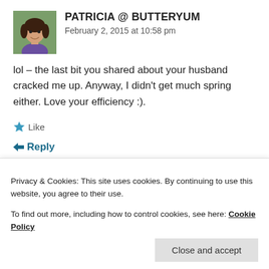PATRICIA @ BUTTERYUM
February 2, 2015 at 10:58 pm
lol – the last bit you shared about your husband cracked me up. Anyway, I didn't get much spring either. Love your efficiency :).
Like
Reply
Privacy & Cookies: This site uses cookies. By continuing to use this website, you agree to their use.
To find out more, including how to control cookies, see here: Cookie Policy
Close and accept